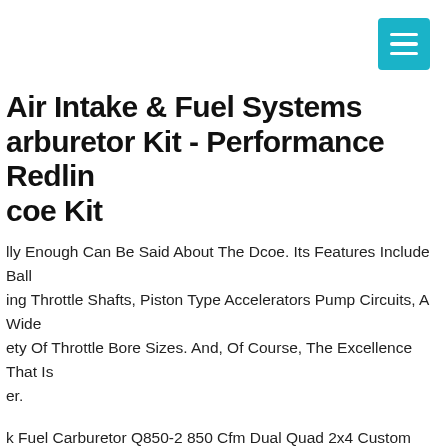[Figure (other): Teal/cyan hamburger menu button icon in top-right corner]
Air Intake & Fuel Systems Carburetor Kit - Performance Redline Dcoe Kit
Hardly Enough Can Be Said About The Dcoe. Its Features Include Ball Bearing Throttle Shafts, Piston Type Accelerators Pump Circuits, A Wide Variety Of Throttle Bore Sizes. And, Of Course, The Excellence That Is Weber.
Holley Quick Fuel Carburetor Q850-2 850 Cfm Dual Quad 2x4 Custom Built For The Q. "q" Series 850 Cfm. Designed For Dual Quad 2x4 Applications Using 2 Carburetors. Notched Secondary Floats And Jet Extensions Ensure Superior Fuel Scavenging During Acceleration. Features Secondary Idle Screw And No Vacuum Provisions.
illys Carb Carburetor Gas Equalizer